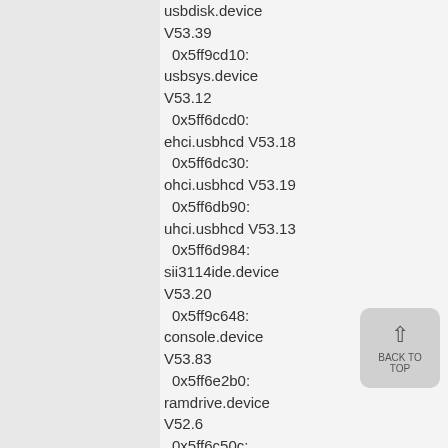usbdisk.device V53.39
 0x5ff9cd10:
usbsys.device V53.12
 0x5ff6dcd0:
ehci.usbhcd V53.18
 0x5ff6dc30:
ohci.usbhcd V53.19
 0x5ff6db90:
uhci.usbhcd V53.13
 0x5ff6d984:
sii3114ide.device V53.20
 0x5ff9c648:
console.device V53.83
 0x5ff6e2b0:
ramdrive.device V52.6
 0x5ff6c50c:
input.device V53.5